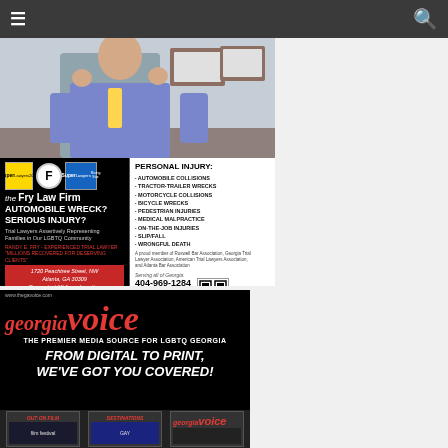Navigation bar with hamburger menu and search icon
[Figure (photo): Fry Law Firm advertisement: top photo of a man in a suit in a law office, bottom section with firm info, personal injury practice areas, address (1720 Peachtree Street, NW, Atlanta, GA 30309), phone (404-969-1284), website (www.thefrylawfirm.com)]
[Figure (photo): Georgia Voice advertisement: black background with red Georgia Voice logo, tagline 'THE PREMIER MEDIA SOURCE FOR LGBTQ GEORGIA', headline 'FROM DIGITAL TO PRINT, WE'VE GOT YOU COVERED!' with small magazine images at bottom]